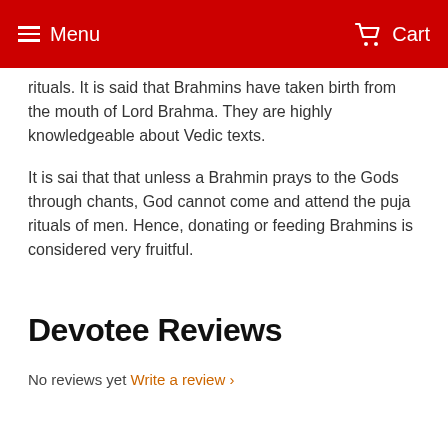Menu  Cart
rituals. It is said that Brahmins have taken birth from the mouth of Lord Brahma. They are highly knowledgeable about Vedic texts.
It is sai that that unless a Brahmin prays to the Gods through chants, God cannot come and attend the puja rituals of men. Hence, donating or feeding Brahmins is considered very fruitful.
Devotee Reviews
No reviews yet Write a review ›